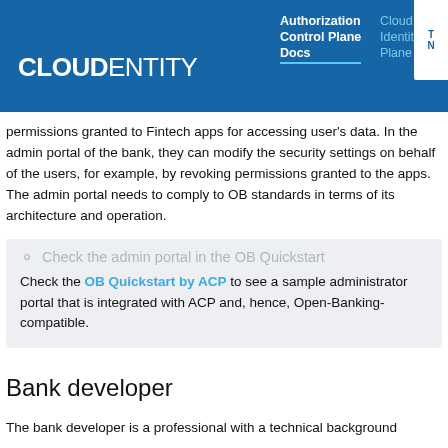CLOUDENTITY | Authorization Control Plane Docs | Cloud Identity Plane
permissions granted to Fintech apps for accessing user's data. In the admin portal of the bank, they can modify the security settings on behalf of the users, for example, by revoking permissions granted to the apps. The admin portal needs to comply to OB standards in terms of its architecture and operation.
Check the admin portal in the OB Quickstart
Check the OB Quickstart by ACP to see a sample administrator portal that is integrated with ACP and, hence, Open-Banking-compatible.
Bank developer
The bank developer is a professional with a technical background